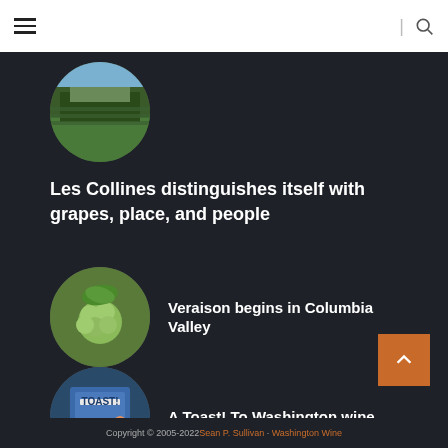Navigation header with hamburger menu and search icon
[Figure (photo): Circular thumbnail photo of vineyard landscape]
Les Collines distinguishes itself with grapes, place, and people
[Figure (photo): Circular thumbnail photo of green grapes on vine]
Veraison begins in Columbia Valley
[Figure (photo): Circular thumbnail photo of Toast! Washington wine event]
A Toast! To Washington wine
Copyright © 2005-2022 Sean P. Sullivan · Washington Wine